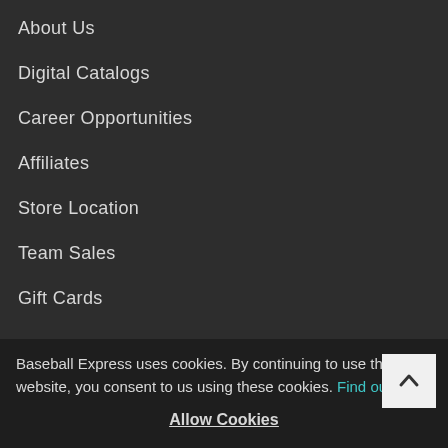About Us
Digital Catalogs
Career Opportunities
Affiliates
Store Location
Team Sales
Gift Cards
Insider Blog
Tips To Stay Safe
Hitting Drills
Pitching Drills
Picking Out Catcher's Gear
Baseball Express uses cookies. By continuing to use this website, you consent to us using these cookies. Find out more
Allow Cookies